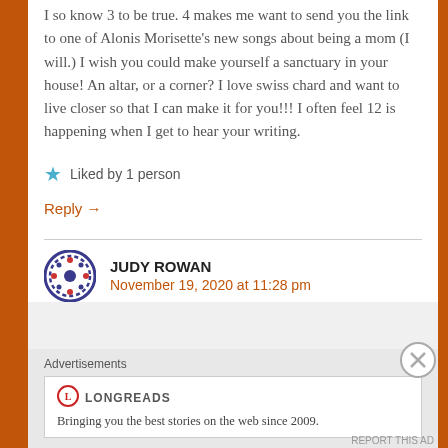I so know 3 to be true. 4 makes me want to send you the link to one of Alonis Morisette's new songs about being a mom (I will.) I wish you could make yourself a sanctuary in your house! An altar, or a corner? I love swiss chard and want to live closer so that I can make it for you!!! I often feel 12 is happening when I get to hear your writing.
Liked by 1 person
Reply →
JUDY ROWAN
November 19, 2020 at 11:28 pm
Advertisements
[Figure (logo): Longreads logo - red circle with L]
Bringing you the best stories on the web since 2009.